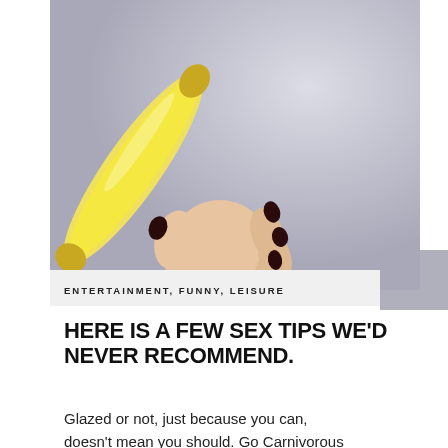[Figure (photo): A hand with dark red/maroon nail polish gripping a banana pointing upward and to the right, against a light gray background.]
ENTERTAINMENT, FUNNY, LEISURE
HERE IS A FEW SEX TIPS WE'D NEVER RECOMMEND.
Glazed or not, just because you can, doesn't mean you should. Go Carnivorous